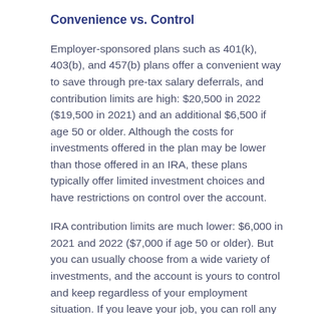Convenience vs. Control
Employer-sponsored plans such as 401(k), 403(b), and 457(b) plans offer a convenient way to save through pre-tax salary deferrals, and contribution limits are high: $20,500 in 2022 ($19,500 in 2021) and an additional $6,500 if age 50 or older. Although the costs for investments offered in the plan may be lower than those offered in an IRA, these plans typically offer limited investment choices and have restrictions on control over the account.
IRA contribution limits are much lower: $6,000 in 2021 and 2022 ($7,000 if age 50 or older). But you can usually choose from a wide variety of investments, and the account is yours to control and keep regardless of your employment situation. If you leave your job, you can roll any assets in your employer plan into your IRA.² Whereas contributions to an employer plan generally must be made by